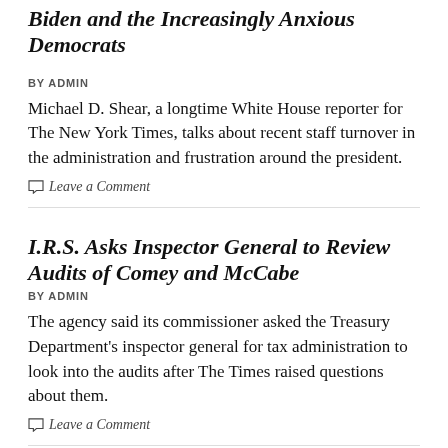Biden and the Increasingly Anxious Democrats
BY ADMIN
Michael D. Shear, a longtime White House reporter for The New York Times, talks about recent staff turnover in the administration and frustration around the president.
Leave a Comment
I.R.S. Asks Inspector General to Review Audits of Comey and McCabe
BY ADMIN
The agency said its commissioner asked the Treasury Department's inspector general for tax administration to look into the audits after The Times raised questions about them.
Leave a Comment
Supreme Court Marshal Asks Officials to End Protests at Justices' Homes